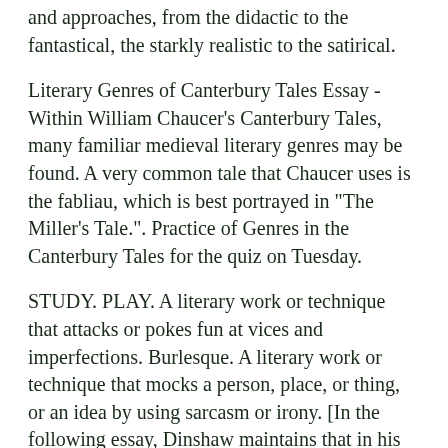and approaches, from the didactic to the fantastical, the starkly realistic to the satirical.
Literary Genres of Canterbury Tales Essay - Within William Chaucer's Canterbury Tales, many familiar medieval literary genres may be found. A very common tale that Chaucer uses is the fabliau, which is best portrayed in "The Miller's Tale.". Practice of Genres in the Canterbury Tales for the quiz on Tuesday.
STUDY. PLAY. A literary work or technique that attacks or pokes fun at vices and imperfections. Burlesque. A literary work or technique that mocks a person, place, or thing, or an idea by using sarcasm or irony. [In the following essay, Dinshaw maintains that in his works Chaucer figuratively associates literary activity with the human body.
This association, argues Dinshaw. ENG - Composition II. Prerequisites: ENG or ENG Description: This course is an